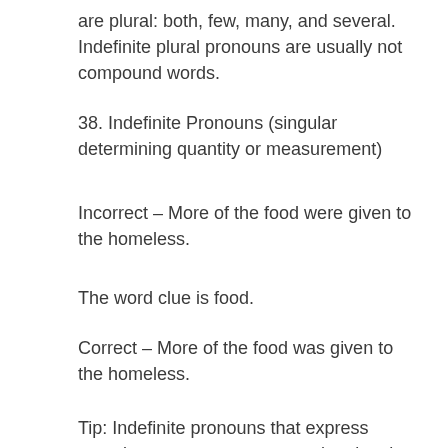are plural: both, few, many, and several. Indefinite plural pronouns are usually not compound words.
38. Indefinite Pronouns (singular determining quantity or measurement)
Incorrect – More of the food were given to the homeless.
The word clue is food.
Correct – More of the food was given to the homeless.
Tip: Indefinite pronouns that express quantity or measurement may be singular or plural depending